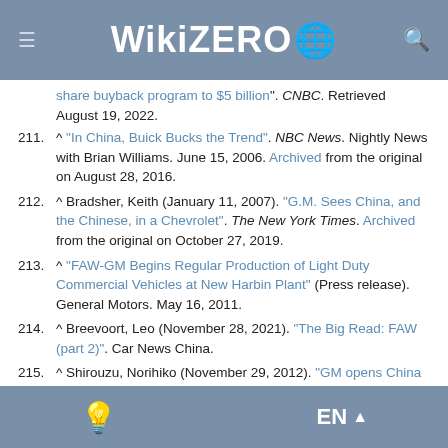WikiZero
share buyback program to $5 billion". CNBC. Retrieved August 19, 2022.
211. ^ "In China, Buick Bucks the Trend". NBC News. Nightly News with Brian Williams. June 15, 2006. Archived from the original on August 28, 2016.
212. ^ Bradsher, Keith (January 11, 2007). "G.M. Sees China, and the Chinese, in a Chevrolet". The New York Times. Archived from the original on October 27, 2019.
213. ^ "FAW-GM Begins Regular Production of Light Duty Commercial Vehicles at New Harbin Plant" (Press release). General Motors. May 16, 2011.
214. ^ Breevoort, Leo (November 28, 2021). "The Big Read: FAW (part 2)". Car News China.
215. ^ Shirouzu, Norihiko (November 29, 2012). "GM opens China research center to focus on 'new energy' ". Reuters.
EN